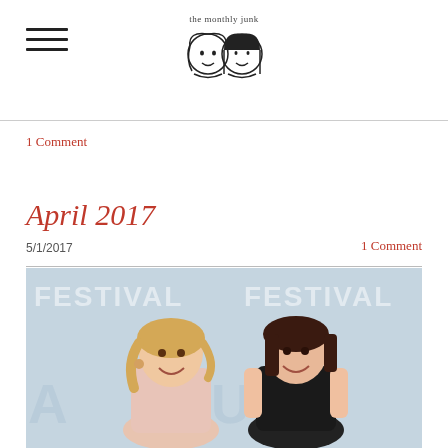the monthly junk [logo with two illustrated faces]
1 Comment
April 2017
5/1/2017   1 Comment
[Figure (photo): Two women smiling in front of a film festival backdrop with 'FESTIVAL' text visible. Left woman has blonde wavy hair and wears a light pink outfit; right woman has dark shoulder-length hair and wears a black sleeveless top.]